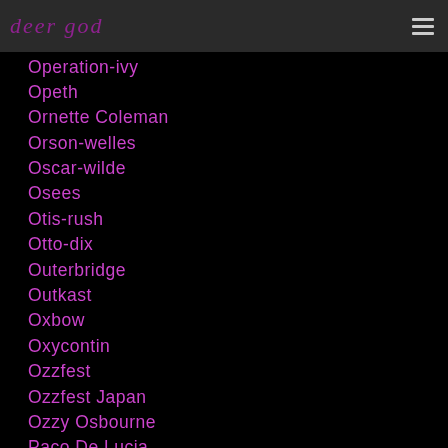deer god
Operation-ivy
Opeth
Ornette Coleman
Orson-welles
Oscar-wilde
Osees
Otis-rush
Otto-dix
Outerbridge
Outkast
Oxbow
Oxycontin
Ozzfest
Ozzfest Japan
Ozzy Osbourne
Paco De Lucia
Paco Pena